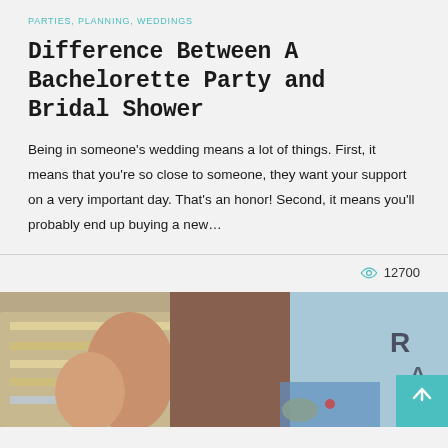PARTIES, PLANNING, WEDDINGS
Difference Between A Bachelorette Party and Bridal Shower
Being in someone's wedding means a lot of things. First, it means that you're so close to someone, they want your support on a very important day. That's an honor! Second, it means you'll probably end up buying a new…
12700
[Figure (photo): Photo of people, partially visible, outdoor or casual setting with striped clothing and colorful accessories]